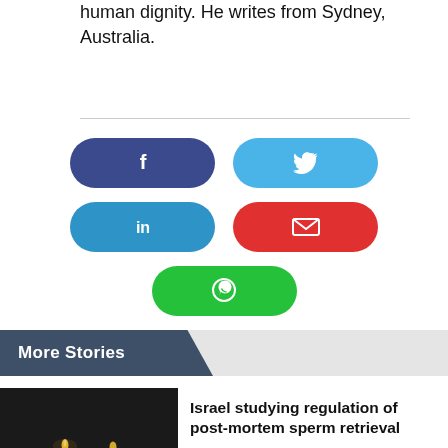human dignity. He writes from Sydney, Australia.
[Figure (infographic): Social share buttons: Facebook (dark blue), Twitter (light blue), LinkedIn (blue), Email (red), WhatsApp (green)]
More Stories
[Figure (photo): Candles with Israeli flag in the background, dark background]
Israel studying regulation of post-mortem sperm retrieval
Israel's parliament, the Knesset, is considering legislation to regulate the...